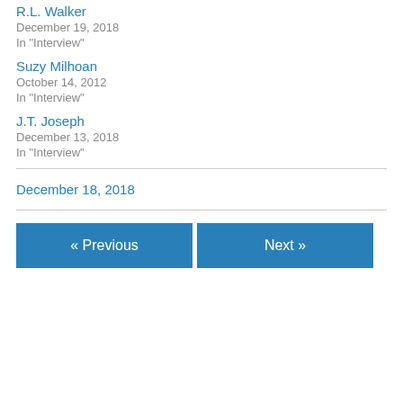R.L. Walker
December 19, 2018
In "Interview"
Suzy Milhoan
October 14, 2012
In "Interview"
J.T. Joseph
December 13, 2018
In "Interview"
December 18, 2018
« Previous
Next »